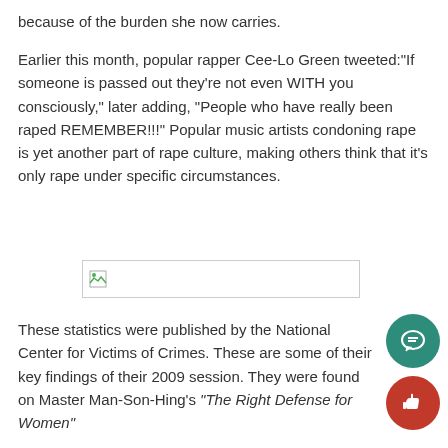because of the burden she now carries.
Earlier this month, popular rapper Cee-Lo Green tweeted:"If someone is passed out they're not even WITH you consciously," later adding, "People who have really been raped REMEMBER!!!" Popular music artists condoning rape is yet another part of rape culture, making others think that it's only rape under specific circumstances.
[Figure (other): Broken image placeholder]
These statistics were published by the National Center for Victims of Crimes. These are some of their key findings of their 2009 session. They were found on Master Man-Son-Hing's "The Right Defense for Women"